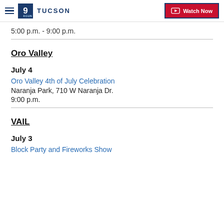9 TUCSON | Watch Now
5:00 p.m. - 9:00 p.m.
Oro Valley
July 4
Oro Valley 4th of July Celebration
Naranja Park, 710 W Naranja Dr.
9:00 p.m.
VAIL
July 3
Block Party and Fireworks Show